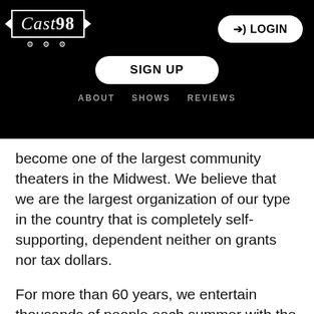Cast98 | LOGIN | SIGN UP | ABOUT  SHOWS  REVIEWS
become one of the largest community theaters in the Midwest. We believe that we are the largest organization of our type in the country that is completely self-supporting, dependent neither on grants nor tax dollars.
For more than 60 years, we entertain thousands of people each summer with the best in musical theatre. The Muni is a unique jewel in Springfield's landscape, a beautiful site tucked away at the lake that offers families and friends a venue to spend time together, volunteer, perform, direct and enjoy quality entertainment.
Each season at the outdoor amphitheater draws...